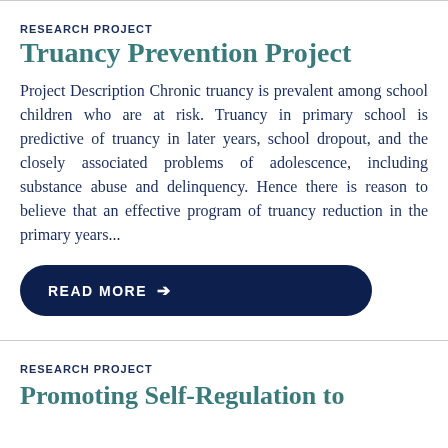RESEARCH PROJECT
Truancy Prevention Project
Project Description Chronic truancy is prevalent among school children who are at risk. Truancy in primary school is predictive of truancy in later years, school dropout, and the closely associated problems of adolescence, including substance abuse and delinquency. Hence there is reason to believe that an effective program of truancy reduction in the primary years...
READ MORE →
RESEARCH PROJECT
Promoting Self-Regulation to